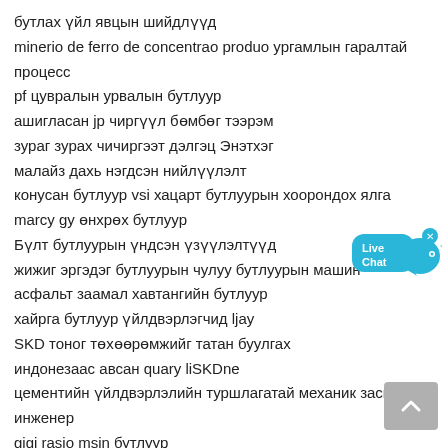бутлах үйл явцын шийдлүүд
minerio de ferro de concentrao produo ургамлын гаралтай процесс
pf цувралын урвалын бутлуур
ашигласан jp чиргүүл бөмбөг тээрэм
зураг зурах чичиргээт дэлгэц Энэтхэг
малайз дахь нэгдсэн нийлүүлэлт
конусан бутлуур vsi хацарт бутлуурын хоорондох ялга
marcy gy өнхрөх бутлуур
Бүлт бутлуурын үндсэн үзүүлэлтүүд
жижиг эргэдэг бутлуурын чулуу бутлуурын машин
асфальт заамал хавтангийн бутлуур
хайрга бутлуур үйлдвэрлэгчид ljay
SKD тоног төхөөрөмжийг татан буулгах
индонезаас авсан quary liSKDne
цементийн үйлдвэрлэлийн туршлагатай механик засварын инженер
gigi rasio msin бутлуур
индиавертикал дахь хацарт бутлуурын зах